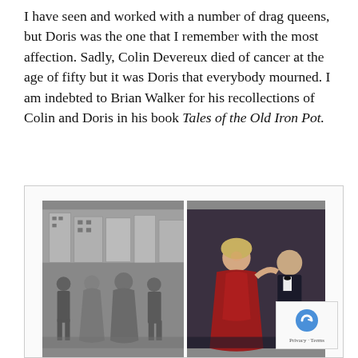I have seen and worked with a number of drag queens, but Doris was the one that I remember with the most affection. Sadly, Colin Devereux died of cancer at the age of fifty but it was Doris that everybody mourned. I am indebted to Brian Walker for his recollections of Colin and Doris in his book Tales of the Old Iron Pot.
[Figure (photo): Two photographs side by side. Left: black and white photo of four people standing together on a street, including a person in drag (Dockyard Doris) and Brian Walker. Right: colour photo of a person in a red evening gown (drag queen) with another person in a tuxedo.]
(Left) Here is Dockyard Doris at large on the streets of Hackney with Brian Walker (far left), Larry